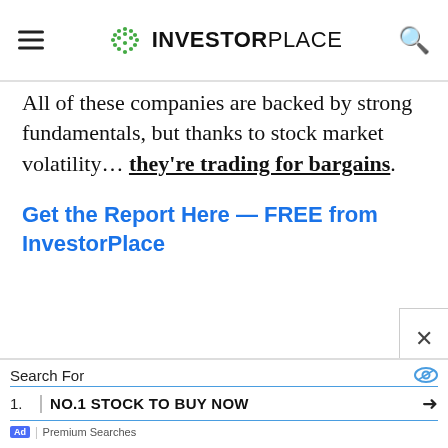INVESTORPLACE
All of these companies are backed by strong fundamentals, but thanks to stock market volatility… they're trading for bargains.
Get the Report Here — FREE from InvestorPlace
Search For | 1. NO.1 STOCK TO BUY NOW | Ad | Premium Searches